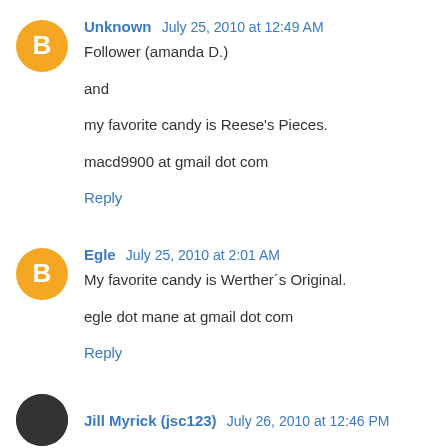Unknown  July 25, 2010 at 12:49 AM
Follower (amanda D.)

and

my favorite candy is Reese's Pieces.

macd9900 at gmail dot com
Reply
Egle  July 25, 2010 at 2:01 AM
My favorite candy is Werther´s Original.

egle dot mane at gmail dot com
Reply
Jill Myrick (jsc123)  July 26, 2010 at 12:46 PM